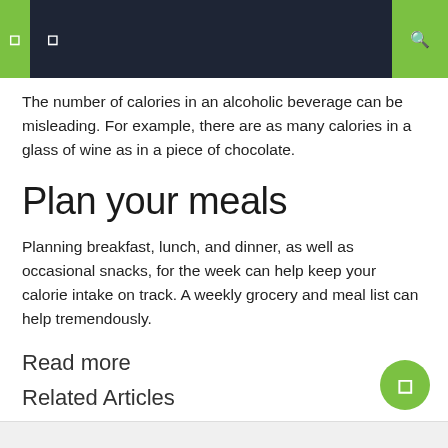Navigation header with menu icons
The number of calories in an alcoholic beverage can be misleading. For example, there are as many calories in a glass of wine as in a piece of chocolate.
Plan your meals
Planning breakfast, lunch, and dinner, as well as occasional snacks, for the week can help keep your calorie intake on track. A weekly grocery and meal list can help tremendously.
Read more
Related Articles
Read more
Related Articles